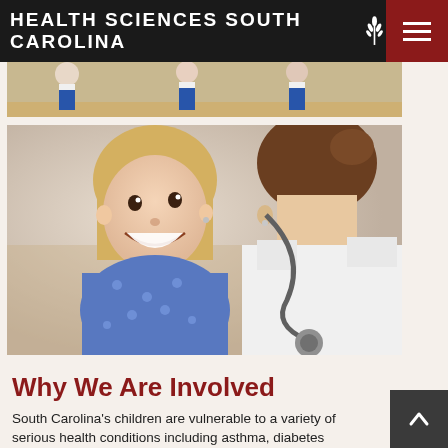HEALTH SCIENCES SOUTH CAROLINA
[Figure (photo): Partial view of children in athletic/gym setting, cropped to show lower bodies in blue uniforms]
[Figure (photo): A smiling young girl in a blue polka-dot dress being examined by a doctor/healthcare provider using a stethoscope]
Why We Are Involved
South Carolina's children are vulnerable to a variety of serious health conditions including asthma, diabetes